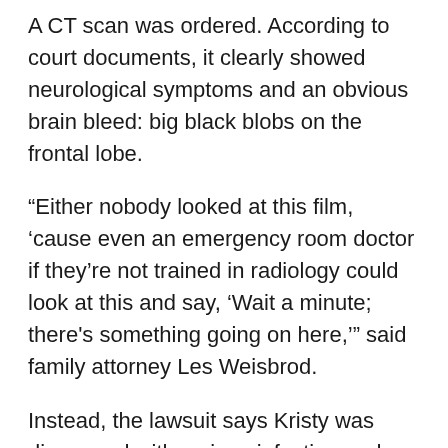A CT scan was ordered. According to court documents, it clearly showed neurological symptoms and an obvious brain bleed: big black blobs on the frontal lobe.
“Either nobody looked at this film, ‘cause even an emergency room doctor if they’re not trained in radiology could look at this and say, ‘Wait a minute; there's something going on here,’” said family attorney Les Weisbrod.
Instead, the lawsuit says Kristy was diagnosed with a sinus infection and migraine, sent home with a prescription for antibiotics and was told it was probably work stress.
Later that day, Kristy suffered another seizure at home, and then another on her way to a different